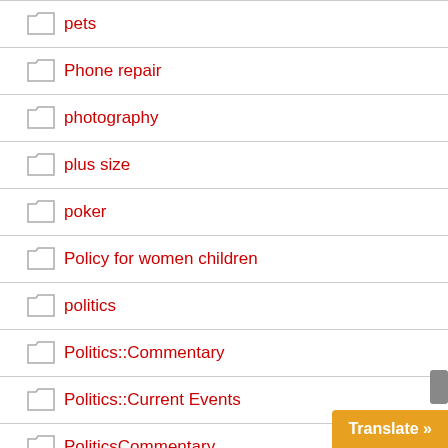pets
Phone repair
photography
plus size
poker
Policy for women children
politics
Politics::Commentary
Politics::Current Events
PoliticsCommentary